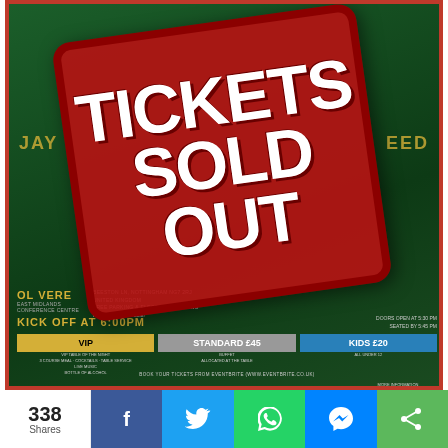[Figure (infographic): Event poster for a show with a dark green background showing blurred performers. A large red 'TICKETS SOLD OUT' stamp overlay is prominently displayed in the center-upper portion of the poster. Below shows venue details: OL VERE, KICK OFF AT 6:00PM, ticket tiers (VIP, STANDARD £45, KIDS £20), booking info from Eventbrite, and organizer logo CLKF.]
338 Shares